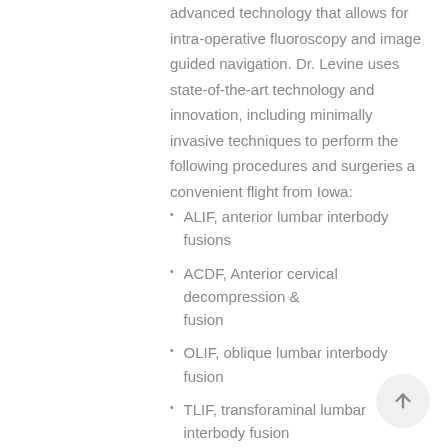advanced technology that allows for intra-operative fluoroscopy and image guided navigation. Dr. Levine uses state-of-the-art technology and innovation, including minimally invasive techniques to perform the following procedures and surgeries a convenient flight from Iowa:
ALIF, anterior lumbar interbody fusions
ACDF, Anterior cervical decompression & fusion
OLIF, oblique lumbar interbody fusion
TLIF, transforaminal lumbar interbody fusion
XLIF, extreme lateral interbody fusion
Cervical spine surgery
MIS (minimally invasive surgery) laminectomy
MIS (minimally invasive surgery) microdiscectomy